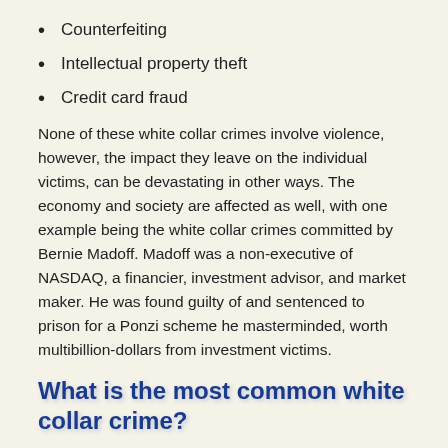Counterfeiting
Intellectual property theft
Credit card fraud
None of these white collar crimes involve violence, however, the impact they leave on the individual victims, can be devastating in other ways. The economy and society are affected as well, with one example being the white collar crimes committed by Bernie Madoff. Madoff was a non-executive of NASDAQ, a financier, investment advisor, and market maker. He was found guilty of and sentenced to prison for a Ponzi scheme he masterminded, worth multibillion-dollars from investment victims.
What is the most common white collar crime?
Examples of white collar crimes include the following: